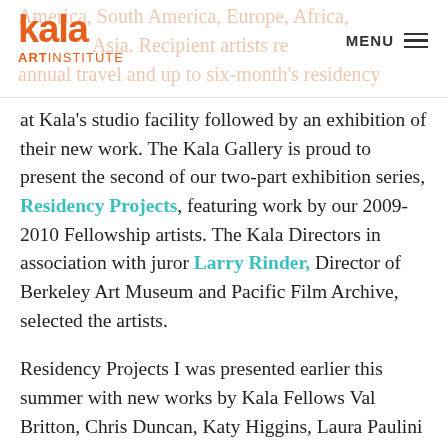Kala Art Institute — MENU
at Kala's studio facility followed by an exhibition of their new work. The Kala Gallery is proud to present the second of our two-part exhibition series, Residency Projects, featuring work by our 2009-2010 Fellowship artists. The Kala Directors in association with juror Larry Rinder, Director of Berkeley Art Museum and Pacific Film Archive, selected the artists.
Residency Projects I was presented earlier this summer with new works by Kala Fellows Val Britton, Chris Duncan, Katy Higgins, Laura Paulini and Bassem Yousri.